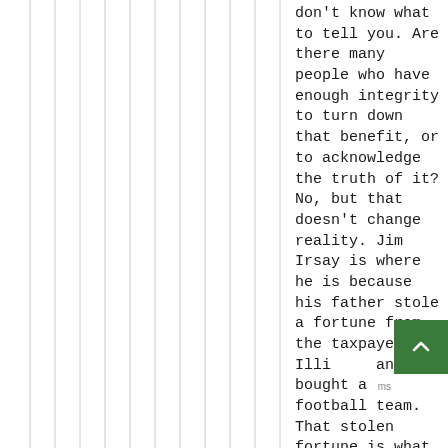don't know what to tell you. Are there many people who have enough integrity to turn down that benefit, or to acknowledge the truth of it? No, but that doesn't change reality. Jim Irsay is where he is because his father stole a fortune from the taxpayers of Illinois and bought a football team. That stolen fortune is what allowed Jim Irsay to be an
[Figure (other): Green scroll-to-top button with upward-pointing chevron arrow]